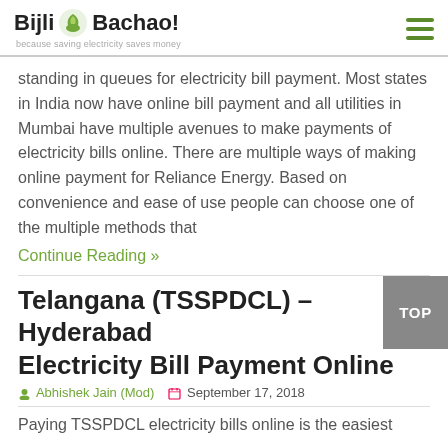Bijli Bachao! because saving electricity saves money
standing in queues for electricity bill payment. Most states in India now have online bill payment and all utilities in Mumbai have multiple avenues to make payments of electricity bills online. There are multiple ways of making online payment for Reliance Energy. Based on convenience and ease of use people can choose one of the multiple methods that
Continue Reading »
Telangana (TSSPDCL) – Hyderabad Electricity Bill Payment Online
Abhishek Jain (Mod)   September 17, 2018
Paying TSSPDCL electricity bills online is the easiest